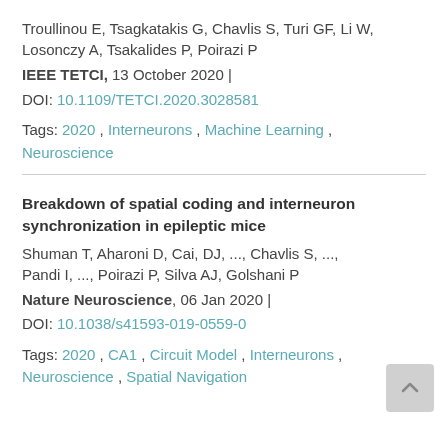Troullinou E, Tsagkatakis G, Chavlis S, Turi GF, Li W, Losonczy A, Tsakalides P, Poirazi P
IEEE TETCI, 13 October 2020 | DOI: 10.1109/TETCI.2020.3028581
Tags: 2020 , Interneurons , Machine Learning , Neuroscience
Breakdown of spatial coding and interneuron synchronization in epileptic mice
Shuman T, Aharoni D, Cai, DJ, ..., Chavlis S, ..., Pandi I, ..., Poirazi P, Silva AJ, Golshani P
Nature Neuroscience, 06 Jan 2020 | DOI: 10.1038/s41593-019-0559-0
Tags: 2020 , CA1 , Circuit Model , Interneurons , Neuroscience , Spatial Navigation